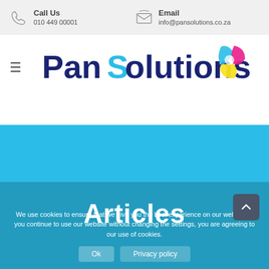Call Us | 010 449 00001 | Email | info@pansolutions.co.za
[Figure (logo): PanSolutions logo with CMYK color teardrop icon and dark blue text]
Articles
We use cookies to ensure that we give you the best experience on our website. If you continue to use our website without changing the settings, you are agreeing to our use of cookies.
Ok | Privacy policy